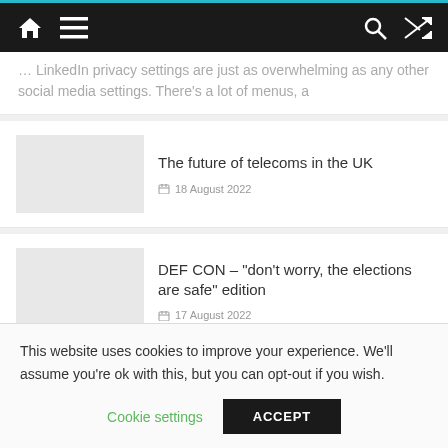Navigation header with home, menu, search, and shuffle icons
… LinkedIn privacy settings are just as overwhelming as any other social media settings. There's a lot of menus, a
The future of telecoms in the UK
18 August 2022
DEF CON – "don't worry, the elections are safe" edition
17 August 2022
This website uses cookies to improve your experience. We'll assume you're ok with this, but you can opt-out if you wish.
Cookie settings   ACCEPT